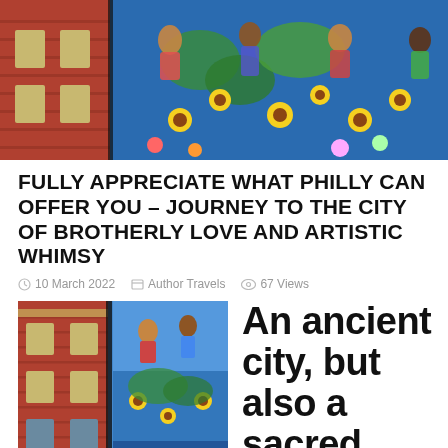[Figure (photo): Collage of Philadelphia street scenes and colorful murals — a red brick building facade on the left, and vibrant painted murals with sunflowers, figures, and bright colors filling the rest of the banner image.]
FULLY APPRECIATE WHAT PHILLY CAN OFFER YOU – JOURNEY TO THE CITY OF BROTHERLY LOVE AND ARTISTIC WHIMSY
10 March 2022   Author Travels   67 Views
[Figure (photo): Philadelphia building with red brick facade and ornate cornice, with large colorful murals painted on an adjacent tall wall, visible against a blue sky.]
An ancient city, but also a sacred place